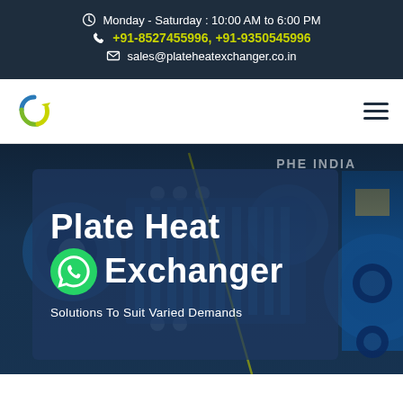Monday - Saturday : 10:00 AM to 6:00 PM
+91-8527455996, +91-9350545996
sales@plateheatexchanger.co.in
[Figure (logo): Company logo — stylized circular arrow icon in green/yellow/blue]
Plate Heat Exchanger
Solutions To Suit Varied Demands
[Figure (photo): Background photo of blue industrial plate heat exchanger machinery with bolts and connectors visible. Text overlay 'PHE INDIA' visible on right side.]